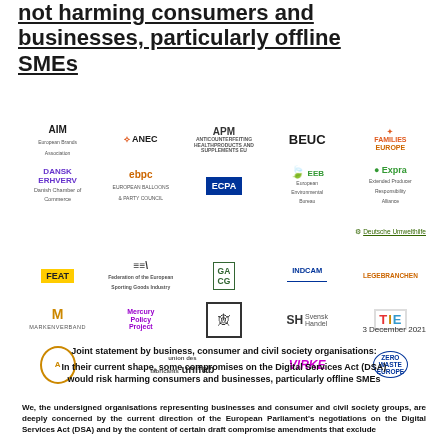not harming consumers and businesses, particularly offline SMEs
[Figure (logo): Grid of organisation logos including AIM, ANEC, APM, BEUC, Families Europe, Dansk Erhverv, EBPC, ECPA, EEB, Expra, Deutsche Umwelthilfe, FEAT, FESI, GACG, INDCAM, Legebranchen, Markenverband, Mercury Policy Project, NCG, Svensk Handel, TIE, AMT, unifab, VIRKE, Zero Waste Europe]
3 December 2021
Joint statement by business, consumer and civil society organisations:
In their current shape, some compromises on the Digital Services Act (DSA)
would risk harming consumers and businesses, particularly offline SMEs
We, the undersigned organisations representing businesses and consumer and civil society groups, are deeply concerned by the current direction of the European Parliament's negotiations on the Digital Services Act (DSA) and by the content of certain draft compromise amendments that exclude